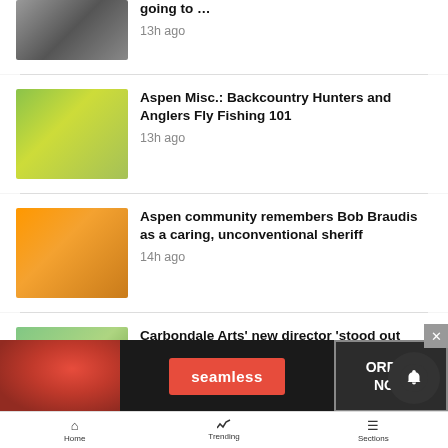[Figure (screenshot): News feed mobile app screenshot showing articles with thumbnails]
going to …
13h ago
Aspen Misc.: Backcountry Hunters and Anglers Fly Fishing 101
13h ago
Aspen community remembers Bob Braudis as a caring, unconventional sheriff
14h ago
Carbondale Arts' new director 'stood out from the very beginning'
1d ago
[Figure (photo): Seamless food delivery advertisement banner with pizza image]
Home   Trending   Sections